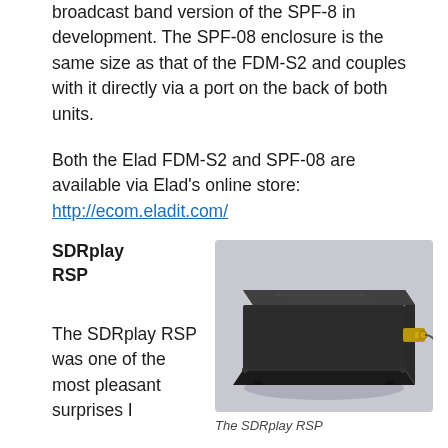broadcast band version of the SPF-8 in development. The SPF-08 enclosure is the same size as that of the FDM-S2 and couples with it directly via a port on the back of both units.
Both the Elad FDM-S2 and SPF-08 are available via Elad's online store: http://ecom.eladit.com/
SDRplay RSP
[Figure (photo): Photo of the SDRplay RSP device — a black rectangular metal enclosure with an SMA antenna connector on the right side, shown at an angle on a light grey background.]
The SDRplay RSP
The SDRplay RSP was one of the most pleasant surprises I